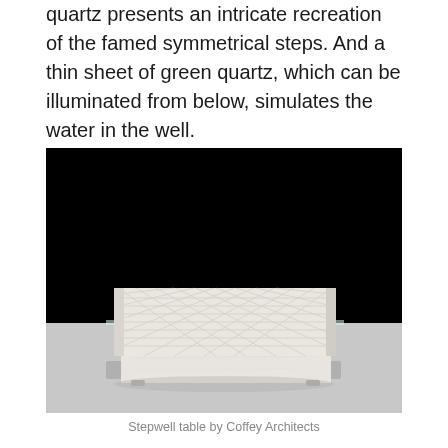quartz presents an intricate recreation of the famed symmetrical steps. And a thin sheet of green quartz, which can be illuminated from below, simulates the water in the well.
[Figure (photo): A low square coffee table made of white/cream stone with a diamond-pattern lattice top surface and a glass panel, photographed against a black background with a light grey floor.]
Stepwell table by Coffey Architects